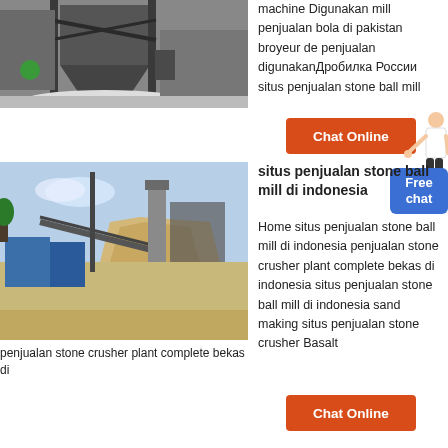[Figure (photo): Industrial mill/crusher facility with large hopper structure, machinery, and white powder/material on ground]
machine Digunakan mill penjualan bola di pakistan broyeur de penjualan digunakanДробилка России situs penjualan stone ball mill
[Figure (other): Chat Online button with orange background and person figure illustration]
[Figure (other): Free chat badge in blue]
[Figure (photo): Stone crusher plant facility with industrial equipment, conveyor belts, blue containers, and large pile of sand/gravel]
situs penjualan stone ball mill di indonesia
Home situs penjualan stone ball mill di indonesia penjualan stone crusher plant complete bekas di indonesia situs penjualan stone ball mill di indonesia sand making situs penjualan stone crusher Basalt
penjualan stone crusher plant complete bekas di
[Figure (other): Chat Online button with orange background]